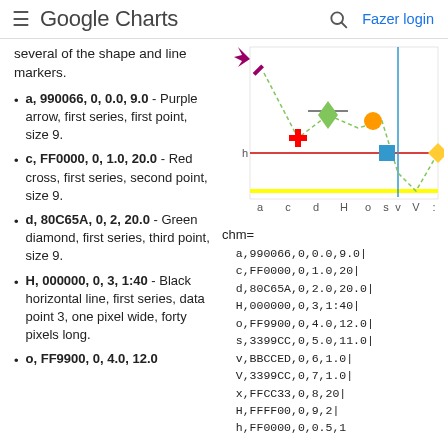≡  Google Charts   🔍  Fazer login
several of the shape and line markers.
a, 990066, 0, 0.0, 9.0 - Purple arrow, first series, first point, size 9.
c, FF0000, 0, 1.0, 20.0 - Red cross, first series, second point, size 9.
d, 80C65A, 0, 2, 20.0 - Green diamond, first series, third point, size 9.
H, 000000, 0, 3, 1:40 - Black horizontal line, first series, data point 3, one pixel wide, forty pixels long.
o, FF9900, 0, 4.0, 12.0
[Figure (line-chart): Line chart showing markers: purple arrow, red cross, green diamond, orange circle, blue square, with horizontal lines (black, red, yellow, blue vertical). X-axis labels: a c d H o s v V :]
chm=
  a,990066,0,0.0,9.0|
  c,FF0000,0,1.0,20|
  d,80C65A,0,2.0,20.0|
  H,000000,0,3,1:40|
  o,FF9900,0,4.0,12.0|
  s,3399CC,0,5.0,11.0|
  v,BBCCED,0,6,1.0|
  V,3399CC,0,7,1.0|
  x,FFCC33,0,8,20|
  H,FFFF00,0,9,2|
  h,FF0000,0,0.5,1